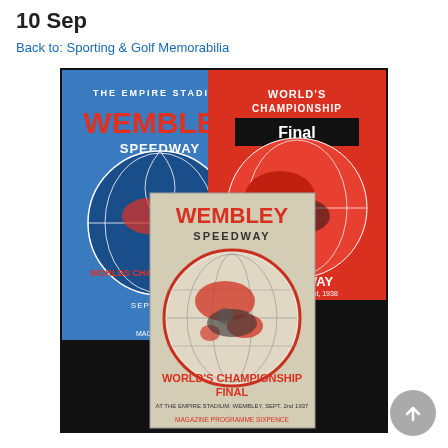10 Sep
Back to: Sporting & Golf Memorabilia
[Figure (photo): Three vintage Wembley Speedway World's Championship Final programmes from the 1930s. Left: blue programme 'The Empire Stadium Wembley Speedway' September 1936. Top right: red programme 'World's Championship Final Speedway Wembley Sept 1st 1938'. Front centre: cream/grey programme 'Wembley Speedway World's Championship Final at the Empire Stadium, Wembley, Sept 2nd 1937, Magazine Programme Sixpence'.]